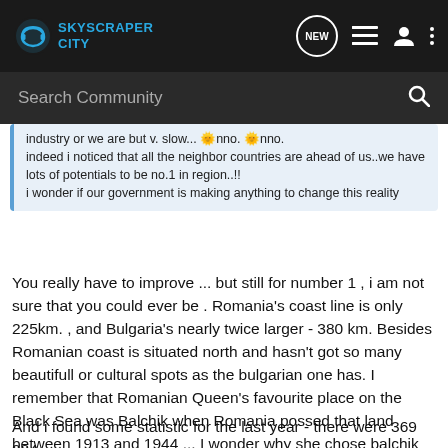SkyScraper City — navigation bar with search
industry or we are but v. slow... 🌞nno. 🌞nno.
indeed i noticed that all the neighbor countries are ahead of us..we have lots of potentials to be no.1 in region..!!
i wonder if our government is making anything to change this reality
You really have to improve ... but still for number 1 , i am not sure that you could ever be . Romania's coast line is only 225km. , and Bulgaria's nearly twice larger - 380 km. Besides Romanian coast is situated north and hasn't got so many beautifull or cultural spots as the bulgarian one has. I remember that Romanian Queen's favourite place on the Black Sea was Balchik when Romania possed that land between 1913 and 1944 ... I wonder why she chose balchik instead of Mamaia ? 🙂
And i found some statistic for the last year - there were 369 084